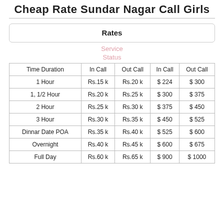Cheap Rate Sundar Nagar Call Girls
| Rates |  |  |  |  |
| --- | --- | --- | --- | --- |
Service
Status
| Time Duration | In Call | Out Call | In Call | Out Call |
| --- | --- | --- | --- | --- |
| 1 Hour | Rs.15 k | Rs.20 k | $ 224 | $ 300 |
| 1, 1/2 Hour | Rs.20 k | Rs.25 k | $ 300 | $ 375 |
| 2 Hour | Rs.25 k | Rs.30 k | $ 375 | $ 450 |
| 3 Hour | Rs.30 k | Rs.35 k | $ 450 | $ 525 |
| Dinnar Date POA | Rs.35 k | Rs.40 k | $ 525 | $ 600 |
| Overnight | Rs.40 k | Rs.45 k | $ 600 | $ 675 |
| Full Day | Rs.60 k | Rs.65 k | $ 900 | $ 1000 |